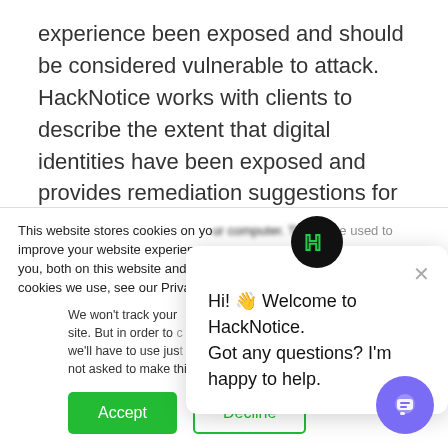experience been exposed and should be considered vulnerable to attack. HackNotice works with clients to describe the extent that digital identities have been exposed and provides remediation suggestions for how to handle each type of exposure.
HackNotice monitors the hacker community, which is a network of individuals that part data breaches,
This website stores cookies on your computer. These are used to improve your website experience you, both on this website and through cookies we use, see our Privacy P...
We won't track your site. But in order to we'll have to use jus not asked to make this choice again.
[Figure (screenshot): Cookie consent dialog with Accept (green) and Decline (outlined) buttons]
[Figure (screenshot): HackNotice chat widget popup: Hi! Welcome to HackNotice. Got any questions? I'm happy to help.]
[Figure (screenshot): Purple floating chat button in bottom right corner]